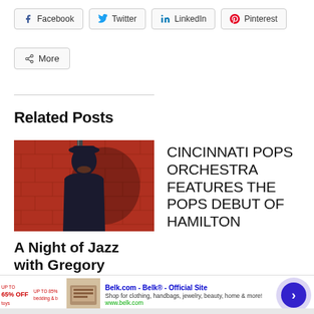[Figure (infographic): Social share buttons: Facebook, Twitter, LinkedIn, Pinterest, and More]
Related Posts
[Figure (photo): Man in dark coat and hat standing against a red brick wall]
A Night of Jazz with Gregory
CINCINNATI POPS ORCHESTRA FEATURES THE POPS DEBUT OF HAMILTON
[Figure (infographic): Belk.com advertisement banner — Shop for clothing, handbags, jewelry, beauty, home & more! www.belk.com]